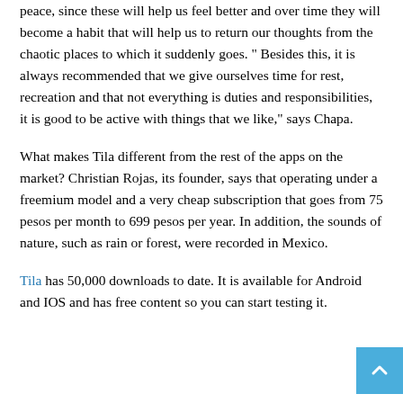peace, since these will help us feel better and over time they will become a habit that will help us to return our thoughts from the chaotic places to which it suddenly goes. " Besides this, it is always recommended that we give ourselves time for rest, recreation and that not everything is duties and responsibilities, it is good to be active with things that we like," says Chapa.
What makes Tila different from the rest of the apps on the market? Christian Rojas, its founder, says that operating under a freemium model and a very cheap subscription that goes from 75 pesos per month to 699 pesos per year. In addition, the sounds of nature, such as rain or forest, were recorded in Mexico.
Tila has 50,000 downloads to date. It is available for Android and IOS and has free content so you can start testing it.